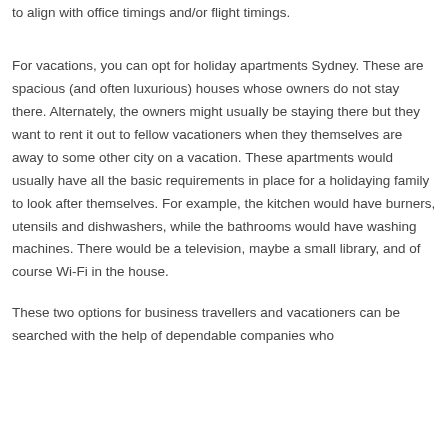to align with office timings and/or flight timings.
For vacations, you can opt for holiday apartments Sydney. These are spacious (and often luxurious) houses whose owners do not stay there. Alternately, the owners might usually be staying there but they want to rent it out to fellow vacationers when they themselves are away to some other city on a vacation. These apartments would usually have all the basic requirements in place for a holidaying family to look after themselves. For example, the kitchen would have burners, utensils and dishwashers, while the bathrooms would have washing machines. There would be a television, maybe a small library, and of course Wi-Fi in the house.
These two options for business travellers and vacationers can be searched with the help of dependable companies who